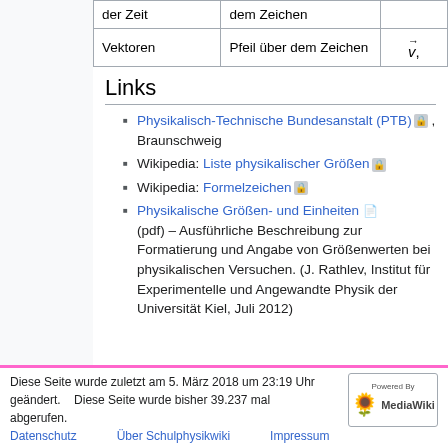|  |  |  |
| --- | --- | --- |
| der Zeit | dem Zeichen |  |
| Vektoren | Pfeil über dem Zeichen | v→, |
Links
Physikalisch-Technische Bundesanstalt (PTB) 🔒 , Braunschweig
Wikipedia: Liste physikalischer Größen 🔒
Wikipedia: Formelzeichen 🔒
Physikalische Größen- und Einheiten 📄 (pdf) – Ausführliche Beschreibung zur Formatierung und Angabe von Größenwerten bei physikalischen Versuchen. (J. Rathlev, Institut für Experimentelle und Angewandte Physik der Universität Kiel, Juli 2012)
Diese Seite wurde zuletzt am 5. März 2018 um 23:19 Uhr geändert. Diese Seite wurde bisher 39.237 mal abgerufen. Datenschutz Über Schulphysikwiki Impressum